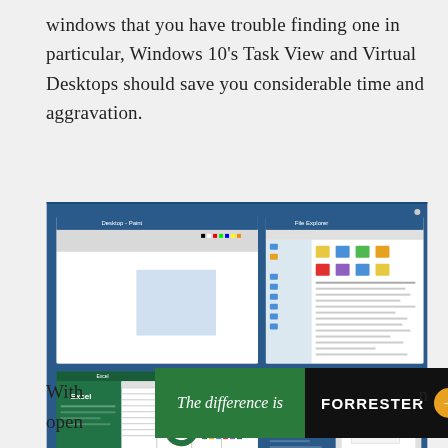windows that you have trouble finding one in particular, Windows 10's Task View and Virtual Desktops should save you considerable time and aggravation.
[Figure (screenshot): Windows 10 Task View screenshot showing multiple open application windows (Paint, File Explorer, Excel, Word) and a taskbar at the bottom with Desktop 1 and Desktop 2 thumbnails.]
With ... open